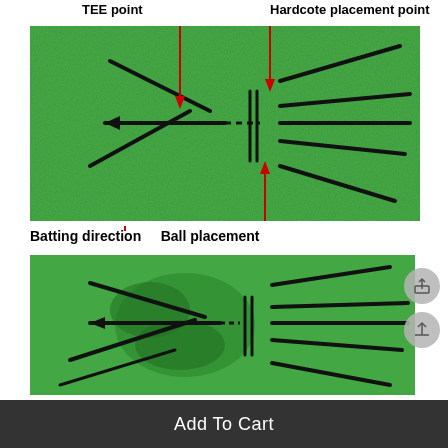TEE point
Hardcote placement point
[Figure (photo): Top-down photo of a green cricket batting mat showing marked lines: a TEE point (left side) with diagonal and horizontal lines indicating batting direction and an arrow, and a ball placement point (center) marked with two vertical parallel lines and radiating angled lines on the right.]
Batting direction   Ball placement
[Figure (photo): Second photo of a used green cricket batting mat showing wear marks and scuffs from use, with the same line markings: arrow on left, parallel vertical lines in center, and radiating angled lines on right.]
Add To Cart